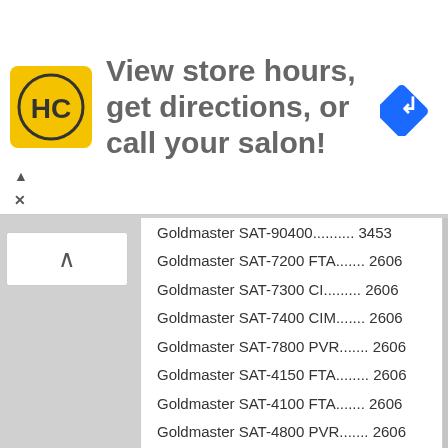[Figure (logo): HC salon logo - yellow square with HC text and circle]
View store hours, get directions, or call your salon!
[Figure (illustration): Blue navigation/directions diamond icon with white right-turn arrow]
Goldmaster SAT-90400.......... 3453
Goldmaster SAT-7200 FTA....... 2606
Goldmaster SAT-7300 CI......... 2606
Goldmaster SAT-7400 CIM....... 2606
Goldmaster SAT-7800 PVR....... 2606
Goldmaster SAT-4150 FTA........ 2606
Goldmaster SAT-4100 FTA....... 2606
Goldmaster SAT-4800 PVR....... 2606
Goldmaster SAT-9200............ 2606
Goldmaster SAT-9400 CI......... 2606
Goldmaster SAT-9500 CIM....... 2606
Goldmaster SAT-9600 CIP....... 2606
Goldmaster SAT-9800 PVR....... 2606
Goldmaster SAT-9900 PVR....... 2606
Goldmaster SAT-8150 FTA........ 3141
Goldmaster SAT-8200 FTA....... 3141
Goldmaster SAT-8210............ 3141
Goldmaster SAT-8300 CI......... 3141
Goldmaster SAT-8350 CI......... 3141